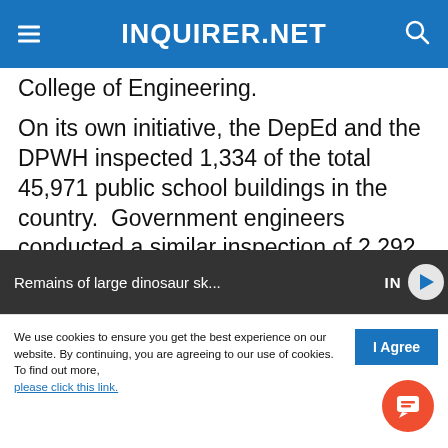INQUIRER.NET
College of Engineering.
On its own initiative, the DepEd and the DPWH inspected 1,334 of the total 45,971 public school buildings in the country.  Government engineers conducted a similar inspection of 2,292 school buildings and found structural defects in about 60 percent, or 1,412 of them.
[Figure (screenshot): Promotional video thumbnail bar showing 'Remains of large dinosaur sk...' with play button and Inquirer logo]
We use cookies to ensure you get the best experience on our website. By continuing, you are agreeing to our use of cookies. To find out more, please click this link.